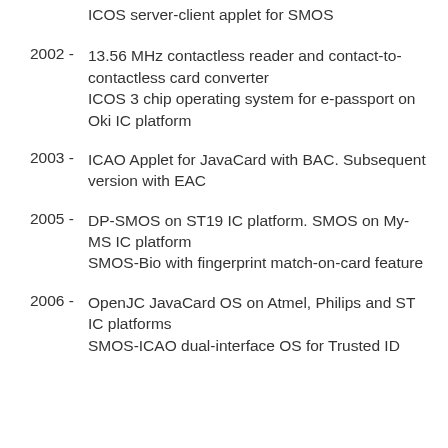ICOS server-client applet for SMOS
2002 - 13.56 MHz contactless reader and contact-to-contactless card converter
ICOS 3 chip operating system for e-passport on Oki IC platform
2003 - ICAO Applet for JavaCard with BAC. Subsequent version with EAC
2005 - DP-SMOS on ST19 IC platform. SMOS on My-MS IC platform
SMOS-Bio with fingerprint match-on-card feature
2006 - OpenJC JavaCard OS on Atmel, Philips and ST IC platforms
SMOS-ICAO dual-interface OS for Trusted ID